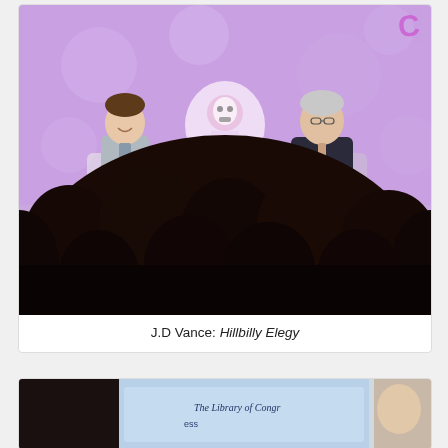[Figure (photo): Two men seated on stage in front of a purple backdrop with decorative logo. An audience (seen from behind, in silhouette) fills the foreground. Left person wears a grey suit, right person wears a dark suit.]
J.D Vance: Hillbilly Elegy
[Figure (photo): Partial view of a presentation stage showing 'The Library of Congress' text on a banner/screen, with a person partially visible.]